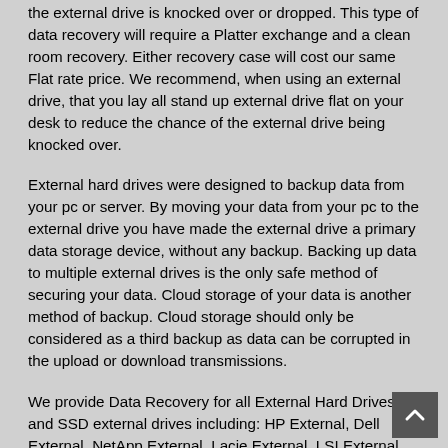the external drive is knocked over or dropped. This type of data recovery will require a Platter exchange and a clean room recovery. Either recovery case will cost our same Flat rate price. We recommend, when using an external drive, that you lay all stand up external drive flat on your desk to reduce the chance of the external drive being knocked over.
External hard drives were designed to backup data from your pc or server. By moving your data from your pc to the external drive you have made the external drive a primary data storage device, without any backup. Backing up data to multiple external drives is the only safe method of securing your data. Cloud storage of your data is another method of backup. Cloud storage should only be considered as a third backup as data can be corrupted in the upload or download transmissions.
We provide Data Recovery for all External Hard Drives and SSD external drives including: HP External, Dell External, NetApp External, Lacie External, LSI External, and Lenovo External. Seagate Free Agent External Hard Drives, Seagate GoFlex External Hard Drives, Seagate Expansion External Drive, Seagate Slim Mac, Maxtor One Touch External Hard. We provide data recovery for all external hard drive including Lacie external drive, Toshiba External Drives, Buffalo External Hard Drives, Fantom External Hard Drives, Western Digital My Book External Hard Drives, Hammer More Space External Hard Drives, Hitachi External Hard Drive, Iomega Prestige External Hard Drive, Lacie External Hard Drives, Macin External Hard Drives, Generic External Hard Drives, LaCie External